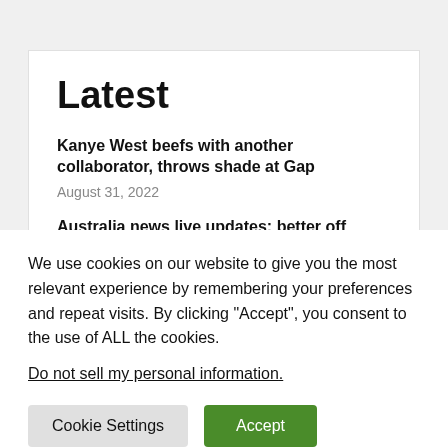Latest
Kanye West beefs with another collaborator, throws shade at Gap
August 31, 2022
Australia news live updates: better off overall test
We use cookies on our website to give you the most relevant experience by remembering your preferences and repeat visits. By clicking “Accept”, you consent to the use of ALL the cookies.
Do not sell my personal information.
Cookie Settings
Accept